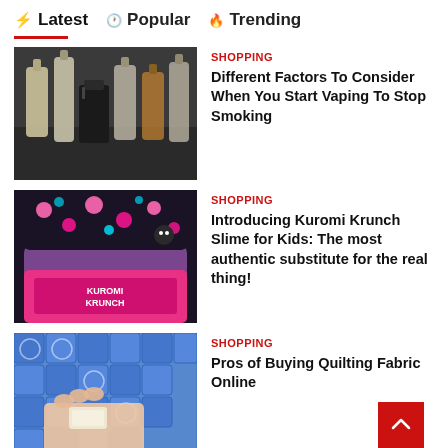⚡ Latest  🕐 Popular  🔥 Trending
[Figure (photo): Vaping devices and e-liquid bottles on a dark surface]
SHOPPING
Different Factors To Consider When You Start Vaping To Stop Smoking
[Figure (photo): Kuromi Krunch slime container with Kuromi-themed lid]
SHOPPING
Introducing Kuromi Krunch Slime for Kids: The most authentic substitute for the real thing!
[Figure (photo): Hand holding white chalk or eraser near quilting fabric on blue patterned surface]
SHOPPING
Pros of Buying Quilting Fabric Online